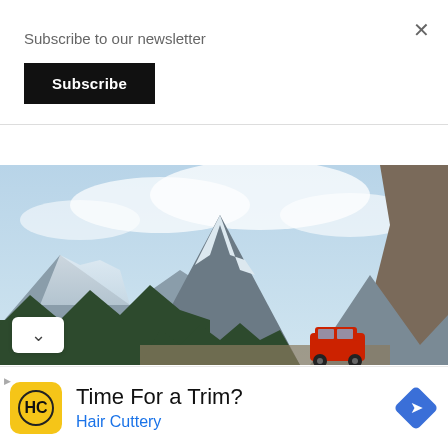×
Subscribe to our newsletter
Subscribe
[Figure (photo): Snow-capped mountain with clouds, pine tree forest in foreground, red Jeep on a dirt road at bottom right, rocky cliffs on the right side]
Time For a Trim? Hair Cuttery